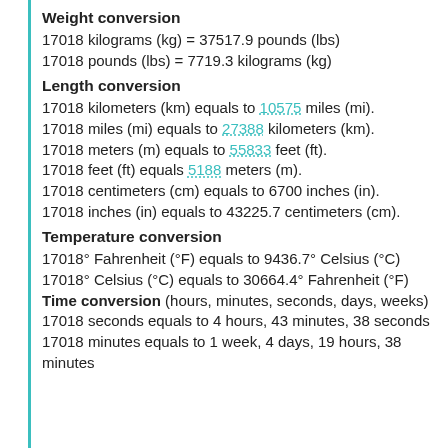Weight conversion
17018 kilograms (kg) = 37517.9 pounds (lbs)
17018 pounds (lbs) = 7719.3 kilograms (kg)
Length conversion
17018 kilometers (km) equals to 10575 miles (mi).
17018 miles (mi) equals to 27388 kilometers (km).
17018 meters (m) equals to 55833 feet (ft).
17018 feet (ft) equals 5188 meters (m).
17018 centimeters (cm) equals to 6700 inches (in).
17018 inches (in) equals to 43225.7 centimeters (cm).
Temperature conversion
17018° Fahrenheit (°F) equals to 9436.7° Celsius (°C)
17018° Celsius (°C) equals to 30664.4° Fahrenheit (°F)
Time conversion (hours, minutes, seconds, days, weeks)
17018 seconds equals to 4 hours, 43 minutes, 38 seconds
17018 minutes equals to 1 week, 4 days, 19 hours, 38 minutes